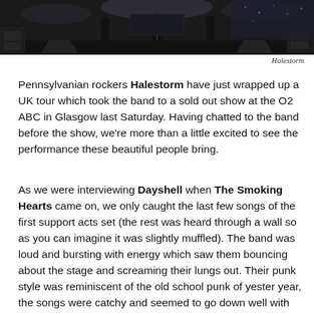[Figure (photo): Band performing on stage with equipment and speakers visible, dark stage background, performer in center with others on sides]
Halestorm
Pennsylvanian rockers Halestorm have just wrapped up a UK tour which took the band to a sold out show at the O2 ABC in Glasgow last Saturday. Having chatted to the band before the show, we're more than a little excited to see the performance these beautiful people bring.
As we were interviewing Dayshell when The Smoking Hearts came on, we only caught the last few songs of the first support acts set (the rest was heard through a wall so as you can imagine it was slightly muffled). The band was loud and bursting with energy which saw them bouncing about the stage and screaming their lungs out. Their punk style was reminiscent of the old school punk of yester year, the songs were catchy and seemed to go down well with the crowd.